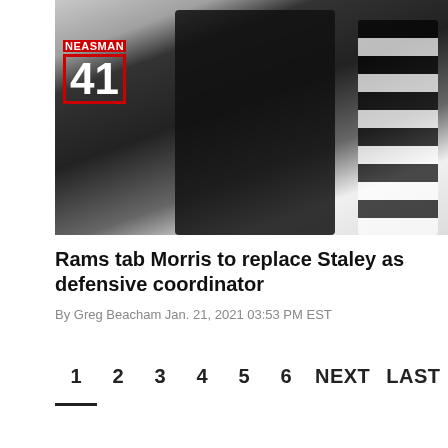[Figure (photo): Football sideline photo showing a person in all-black (coach/staff) with a headset and face mask, standing next to a player wearing jersey number 41 (NEASMAN) in a white uniform with red accents, and a referee in black-and-white stripes on the right.]
Rams tab Morris to replace Staley as defensive coordinator
By Greg Beacham Jan. 21, 2021 03:53 PM EST
1  2  3  4  5  6  NEXT  LAST